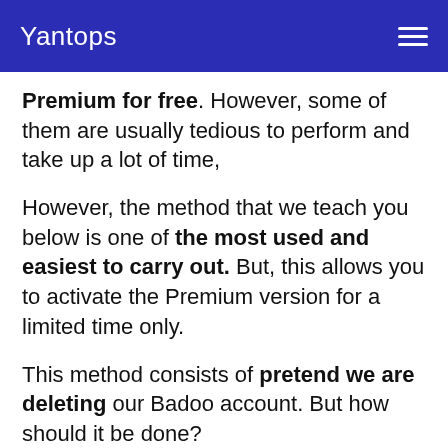Yantops
Premium for free. However, some of them are usually tedious to perform and take up a lot of time,
However, the method that we teach you below is one of the most used and easiest to carry out. But, this allows you to activate the Premium version for a limited time only.
This method consists of pretend we are deleting our Badoo account. But how should it be done?
1. Go to your Badoo profile and click on the